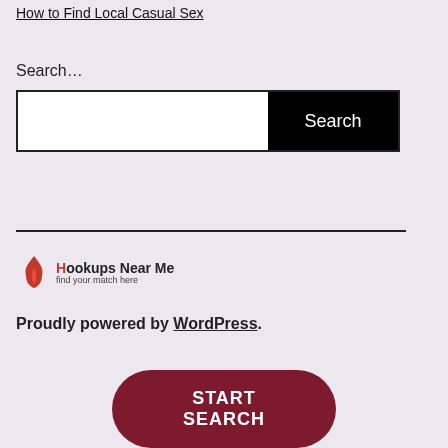How to Find Local Casual Sex
Search…
[Figure (screenshot): Search input box with white text field and black Search button]
[Figure (logo): Hookups Near Me logo with flame icon and tagline 'find your match here']
Proudly powered by WordPress.
[Figure (other): Dark red rounded START SEARCH button]